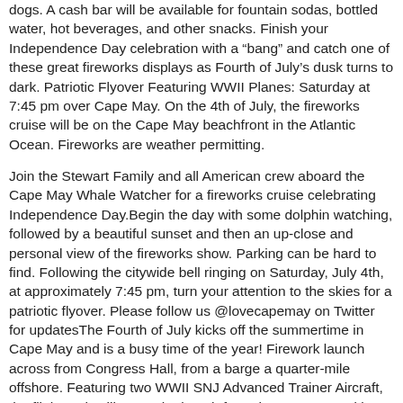dogs. A cash bar will be available for fountain sodas, bottled water, hot beverages, and other snacks. Finish your Independence Day celebration with a “bang” and catch one of these great fireworks displays as Fourth of July’s dusk turns to dark. Patriotic Flyover Featuring WWII Planes: Saturday at 7:45 pm over Cape May. On the 4th of July, the fireworks cruise will be on the Cape May beachfront in the Atlantic Ocean. Fireworks are weather permitting.
Join the Stewart Family and all American crew aboard the Cape May Whale Watcher for a fireworks cruise celebrating Independence Day.Begin the day with some dolphin watching, followed by a beautiful sunset and then an up-close and personal view of the fireworks show. Parking can be hard to find. Following the citywide bell ringing on Saturday, July 4th, at approximately 7:45 pm, turn your attention to the skies for a patriotic flyover. Please follow us @lovecapemay on Twitter for updatesThe Fourth of July kicks off the summertime in Cape May and is a busy time of the year! Firework launch across from Congress Hall, from a barge a quarter-mile offshore. Featuring two WWII SNJ Advanced Trainer Aircraft, the flight path will cover the beach from the Coast Guard base to Cape May Point and will also keep in range of Atlantic Beach. Fireworks are weather permitting.